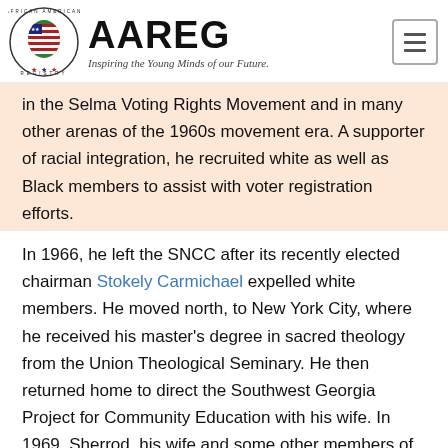AAREG — Inspiring the Young Minds of our Future.
in the Selma Voting Rights Movement and in many other arenas of the 1960s movement era. A supporter of racial integration, he recruited white as well as Black members to assist with voter registration efforts.
In 1966, he left the SNCC after its recently elected chairman Stokely Carmichael expelled white members. He moved north, to New York City, where he received his master's degree in sacred theology from the Union Theological Seminary. He then returned home to direct the Southwest Georgia Project for Community Education with his wife. In 1969, Sherrod, his wife and some other members of the Albany Movement helped pioneer the land trust movement in the U.S., co-founding New Communities, a collective farm in Southwest Georgia modeled on kibbutzim in Israel. The work done in Albany helped open the